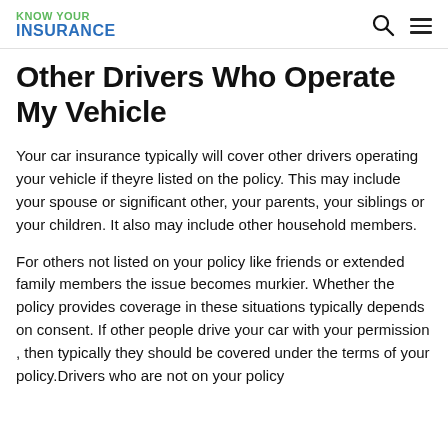KNOW YOUR INSURANCE
Other Drivers Who Operate My Vehicle
Your car insurance typically will cover other drivers operating your vehicle if theyre listed on the policy. This may include your spouse or significant other, your parents, your siblings or your children. It also may include other household members.
For others not listed on your policy like friends or extended family members the issue becomes murkier. Whether the policy provides coverage in these situations typically depends on consent. If other people drive your car with your permission , then typically they should be covered under the terms of your policy.Drivers who are not on your policy